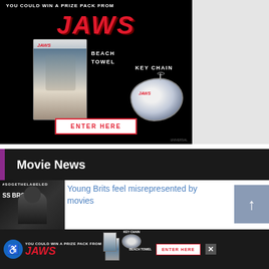[Figure (photo): JAWS movie promotional advertisement on black background showing JAWS beach towel and key chain merchandise with 'ENTER HERE' button and 'YOU COULD WIN A PRIZE PACK FROM JAWS' tagline]
Movie News
[Figure (photo): Thumbnail of a man in black clothing at a red carpet event with SS BROS text visible]
Young Brits feel misrepresented by movies
[Figure (photo): Bottom advertisement strip: JAWS prize pack promotional banner with accessibility icon, JAWS logo, beach towel, key chain images, and ENTER HERE button with close X]